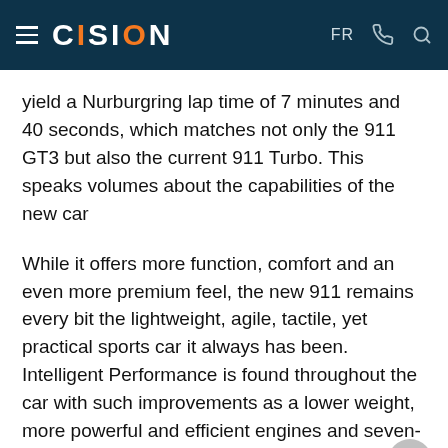CISION | FR
yield a Nurburgring lap time of 7 minutes and 40 seconds, which matches not only the 911 GT3 but also the current 911 Turbo. This speaks volumes about the capabilities of the new car
While it offers more function, comfort and an even more premium feel, the new 911 remains every bit the lightweight, agile, tactile, yet practical sports car it always has been. Intelligent Performance is found throughout the car with such improvements as a lower weight, more powerful and efficient engines and seven-speed manual transmission.